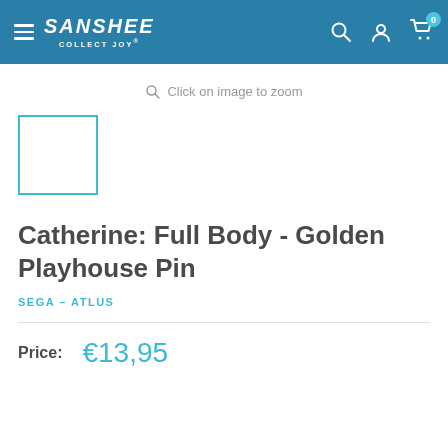SANSHEE COLLECT JOY
Click on image to zoom
[Figure (illustration): Small thumbnail placeholder box with cyan/blue border, empty white interior]
Catherine: Full Body - Golden Playhouse Pin
SEGA – ATLUS
Price: €13,95